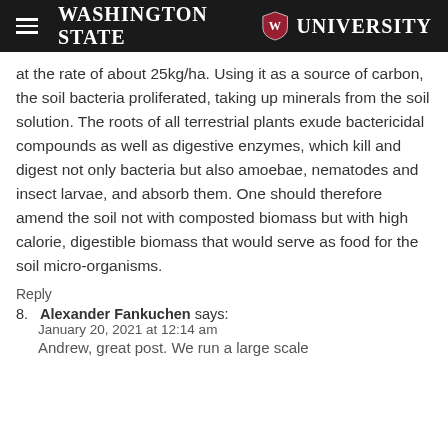Washington State University
at the rate of about 25kg/ha. Using it as a source of carbon, the soil bacteria proliferated, taking up minerals from the soil solution. The roots of all terrestrial plants exude bactericidal compounds as well as digestive enzymes, which kill and digest not only bacteria but also amoebae, nematodes and insect larvae, and absorb them. One should therefore amend the soil not with composted biomass but with high calorie, digestible biomass that would serve as food for the soil micro-organisms.
Reply
8. Alexander Fankuchen says:
January 20, 2021 at 12:14 am
Andrew, great post. We run a large scale